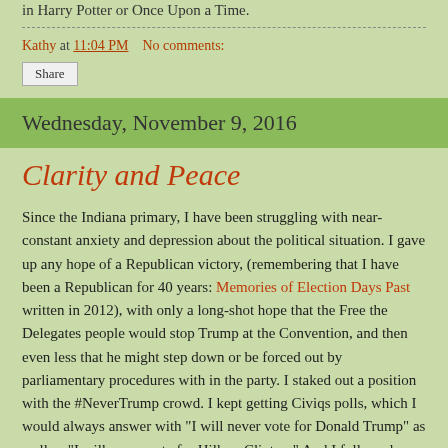in Harry Potter or Once Upon a Time.
Kathy at 11:04 PM    No comments:
Share
Wednesday, November 9, 2016
Clarity and Peace
Since the Indiana primary, I have been struggling with near-constant anxiety and depression about the political situation. I gave up any hope of a Republican victory, (remembering that I have been a Republican for 40 years: Memories of Election Days Past written in 2012), with only a long-shot hope that the Free the Delegates people would stop Trump at the Convention, and then even less that he might step down or be forced out by parliamentary procedures with in the party. I staked out a position with the #NeverTrump crowd. I kept getting Civiqs polls, which I would always answer with "I will never vote for Donald Trump" as well as "I will never vote for Hillary Clinton." And I followed